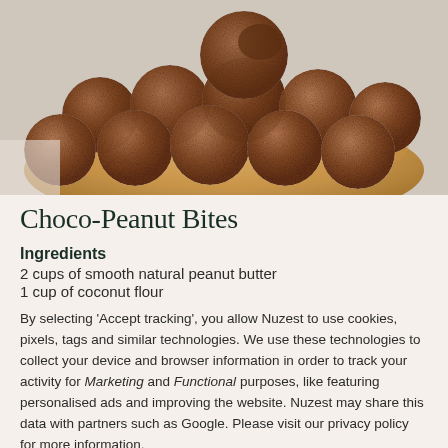[Figure (photo): Chocolate peanut butter energy balls coated in cocoa powder, piled in a round wooden bowl on a light cloth background]
Choco-Peanut Bites
Ingredients
2 cups of smooth natural peanut butter
1 cup of coconut flour
By selecting ‘Accept tracking’, you allow Nuzest to use cookies, pixels, tags and similar technologies. We use these technologies to collect your device and browser information in order to track your activity for Marketing and Functional purposes, like featuring personalised ads and improving the website. Nuzest may share this data with partners such as Google. Please visit our privacy policy for more information.
Privacy Policy
Manage Preferences
Accept Tracking